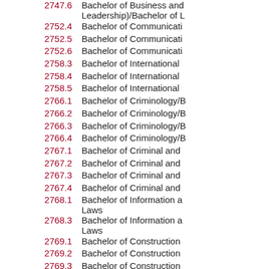2747.6 Bachelor of Business and Leadership)/Bachelor of L
2752.4 Bachelor of Communicati
2752.5 Bachelor of Communicati
2752.6 Bachelor of Communicati
2758.3 Bachelor of International
2758.4 Bachelor of International
2758.5 Bachelor of International
2766.1 Bachelor of Criminology/B
2766.2 Bachelor of Criminology/B
2766.3 Bachelor of Criminology/B
2766.4 Bachelor of Criminology/B
2767.1 Bachelor of Criminal and
2767.2 Bachelor of Criminal and
2767.3 Bachelor of Criminal and
2767.4 Bachelor of Criminal and
2768.1 Bachelor of Information a Laws
2768.3 Bachelor of Information a Laws
2769.1 Bachelor of Construction
2769.2 Bachelor of Construction
2769.3 Bachelor of Construction